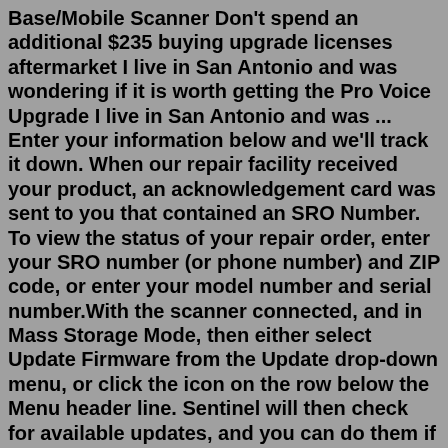Base/Mobile Scanner Don't spend an additional $235 buying upgrade licenses aftermarket I live in San Antonio and was wondering if it is worth getting the Pro Voice Upgrade I live in San Antonio and was ... Enter your information below and we'll track it down. When our repair facility received your product, an acknowledgement card was sent to you that contained an SRO Number. To view the status of your repair order, enter your SRO number (or phone number) and ZIP code, or enter your model number and serial number.With the scanner connected, and in Mass Storage Mode, then either select Update Firmware from the Update drop-down menu, or click the icon on the row below the Menu header line. Sentinel will then check for available updates, and you can do them if needed. The latest update is 1.26.00, which was issued in April of last year.Amazon.com: Uniden HomePatrol-2 Color Touchscreen Simple Program Digital Scanner, TrunkTracker V and S,A,M,E, Emergency/Weather Alert, APCO P25 Phase 1 and 2| Covers USA and